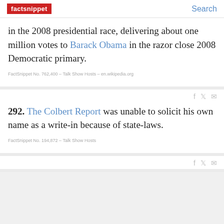factsnippet | Search
in the 2008 presidential race, delivering about one million votes to Barack Obama in the razor close 2008 Democratic primary.
FactSnippet No. 762,400 - Talk Show Hosts - en.wikipedia.org
292. The Colbert Report was unable to solicit his own name as a write-in because of state-laws.
FactSnippet No. 194,872 - Talk Show Hosts